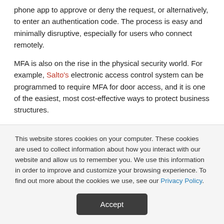phone app to approve or deny the request, or alternatively, to enter an authentication code. The process is easy and minimally disruptive, especially for users who connect remotely.
MFA is also on the rise in the physical security world. For example, Salto's electronic access control system can be programmed to require MFA for door access, and it is one of the easiest, most cost-effective ways to protect business structures.
Questions? Call 877.625.7872
Request a FREE cybersecurity assessment.
Request a FREE physical security assessment.
Read More
This website stores cookies on your computer. These cookies are used to collect information about how you interact with our website and allow us to remember you. We use this information in order to improve and customize your browsing experience. To find out more about the cookies we use, see our Privacy Policy.